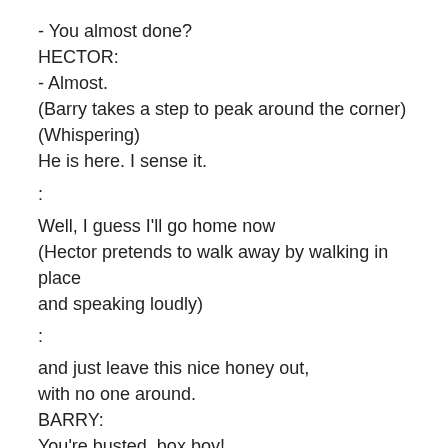- You almost done?
HECTOR:
- Almost.
(Barry takes a step to peak around the corner)
(Whispering)
He is here. I sense it.
:
Well, I guess I'll go home now
(Hector pretends to walk away by walking in place and speaking loudly)
:
and just leave this nice honey out,
with no one around.
BARRY:
You're busted, box boy!
HECTOR:
I knew I heard something!
So you can talk!
BARRY: